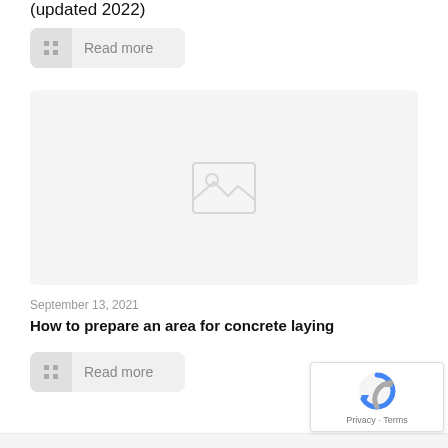(updated 2022)
[Figure (other): Read more button with grid icon]
[Figure (photo): Image placeholder with mountain/landscape icon]
September 13, 2021
How to prepare an area for concrete laying
[Figure (other): Read more button with grid icon]
[Figure (other): reCAPTCHA badge with Privacy and Terms links]